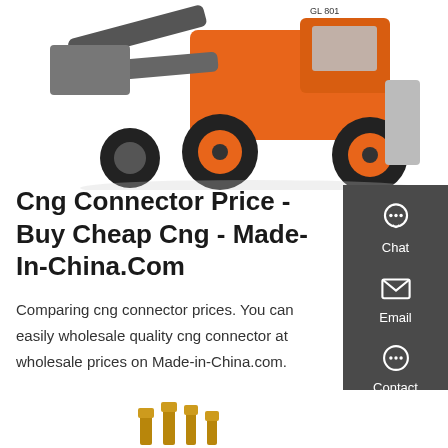[Figure (photo): Orange wheel loader / construction machine photographed against a white background, showing front bucket and large tires.]
Cng Connector Price - Buy Cheap Cng - Made-In-China.Com
Comparing cng connector prices. You can easily wholesale quality cng connector at wholesale prices on Made-in-China.com.
Get a quote
[Figure (photo): Partial view of small metallic CNG connector fittings at the bottom of the page.]